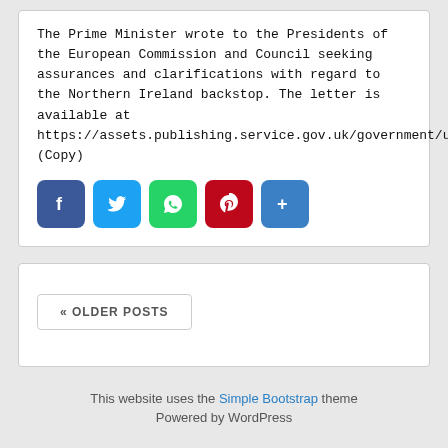The Prime Minister wrote to the Presidents of the European Commission and Council seeking assurances and clarifications with regard to the Northern Ireland backstop. The letter is available at https://assets.publishing.service.gov.uk/government/uploads/system/uploads/attachment_data/file/770770/Letter_from_the_Prime_Minister_to_President_Juncker_and_President_Tusk.pdf (Copy)
[Figure (infographic): Social media sharing buttons: Facebook (blue), Twitter (light blue), WhatsApp (green), Pinterest (red), Share/More (blue)]
« OLDER POSTS
This website uses the Simple Bootstrap theme
Powered by WordPress